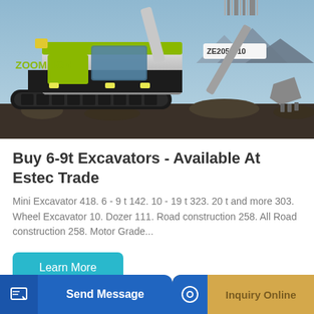[Figure (photo): Zoomlion ZE205E-10 excavator on rocky terrain with mountains and sky in background. Machine is black and green/yellow with visible tracks and boom arm.]
Buy 6-9t Excavators - Available At Estec Trade
Mini Excavator 418. 6 - 9 t 142. 10 - 19 t 323. 20 t and more 303. Wheel Excavator 10. Dozer 111. Road construction 258. All Road construction 258. Motor Grade...
Learn More
Send Message | Inquiry Online